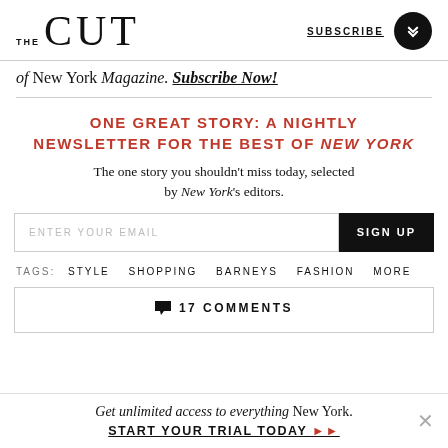THE CUT | SUBSCRIBE
of New York Magazine. Subscribe Now!
ONE GREAT STORY: A NIGHTLY NEWSLETTER FOR THE BEST OF NEW YORK
The one story you shouldn't miss today, selected by New York's editors.
ENTER YOUR EMAIL | SIGN UP
TAGS: STYLE SHOPPING BARNEYS FASHION MORE
17 COMMENTS
Get unlimited access to everything New York. START YOUR TRIAL TODAY